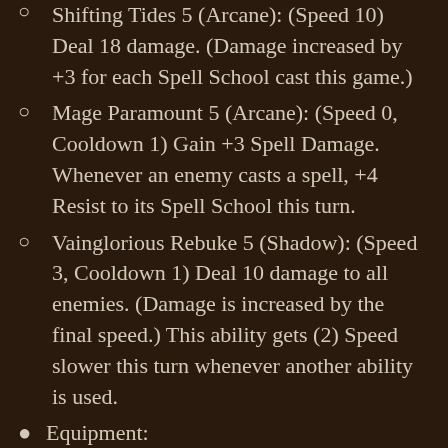Shifting Tides 5 (Arcane): (Speed 10) Deal 18 damage. (Damage increased by +3 for each Spell School cast this game.)
Mage Paramount 5 (Arcane): (Speed 0, Cooldown 1) Gain +3 Spell Damage. Whenever an enemy casts a spell, +4 Resist to its Spell School this turn.
Vainglorious Rebuke 5 (Shadow): (Speed 3, Cooldown 1) Deal 10 damage to all enemies. (Damage is increased by the final speed.) This ability gets (2) Speed slower this turn whenever another ability is used.
Equipment:
Xal'atath 4: Passive: Whenever you cast a Shadow ability, Restore 6 Health to your characters.
Tidestone of Golganneth 4: Passive: This merc